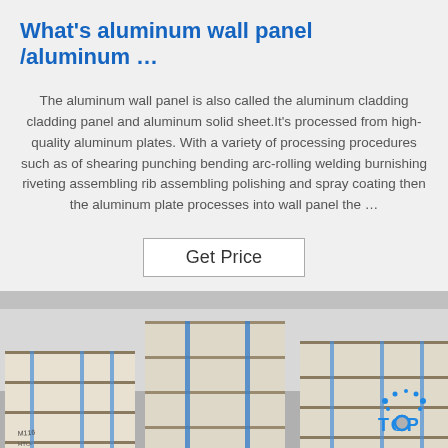What's aluminum wall panel /aluminum …
The aluminum wall panel is also called the aluminum cladding cladding panel and aluminum solid sheet.It's processed from high-quality aluminum plates. With a variety of processing procedures such as of shearing punching bending arc-rolling welding burnishing riveting assembling rib assembling polishing and spray coating then the aluminum plate processes into wall panel the …
Get Price
[Figure (photo): Warehouse shelves stacked with packaged aluminum wall panels, wrapped in plastic strapping. A blue 'TOP' logo with dot accents is visible in the bottom right corner.]